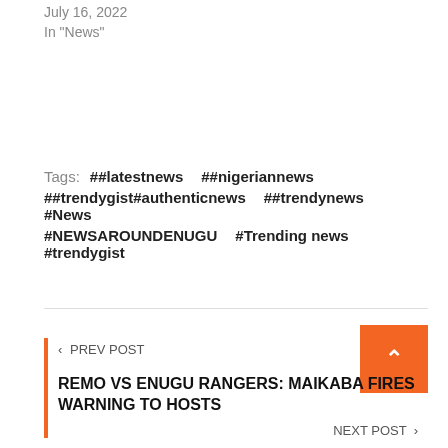July 16, 2022
In "News"
Tags: ##latestnews ##nigeriannews ##trendygist#authenticnews ##trendynews #News #NEWSAROUNDENUGU #Trending news #trendygist
< PREV POST
REMO VS ENUGU RANGERS: MAIKABA FIRES WARNING TO HOSTS
NEXT POST >